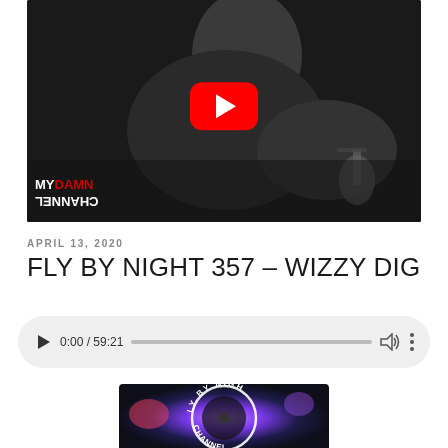[Figure (screenshot): YouTube video thumbnail showing a black and white photo of a person near a microphone, with a red YouTube play button overlay. Bottom-left watermark reads 'MY DAMN CHANNEL' in mirrored/flipped text.]
APRIL 13, 2020
FLY BY NIGHT 357 – WIZZY DIG
[Figure (screenshot): Audio player widget showing play button, time 0:00 / 59:21, progress bar, volume icon, and more options icon.]
[Figure (logo): Circular logo for 'FLY BY NIGHT' podcast with purple/cosmic background, partially cropped at bottom of page.]